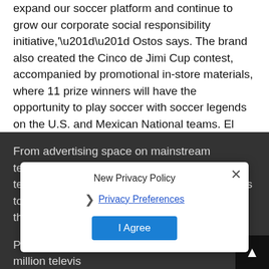expand our soccer platform and continue to grow our corporate social responsibility initiative,'”” Ostos says. The brand also created the Cinco de Jimi Cup contest, accompanied by promotional in-store materials, where 11 prize winners will have the opportunity to play soccer with soccer legends on the U.S. and Mexican National teams. El Jimador showcases that soccer is part of its brand, not only with themed retail point-of-sale pieces, but with online videos airing on ESPN, MLS.com and Facebook.
Tube Talk
From advertising space on mainstream television to product placement in popular television shows, tequila brands are for all eyes to see. It started with Entourage, the HBO hit that featured Tequila Avion in 2010.
Proximo Spirits 1800 launched a major $19 million televis...